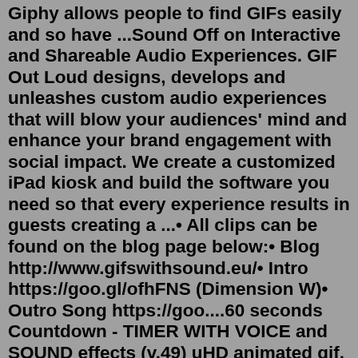Giphy allows people to find GIFs easily and so have ...Sound Off on Interactive and Shareable Audio Experiences. GIF Out Loud designs, develops and unleashes custom audio experiences that will blow your audiences' mind and enhance your brand engagement with social impact. We create a customized iPad kiosk and build the software you need so that every experience results in guests creating a ...• All clips can be found on the blog page below:• Blog http://www.gifswithsound.eu/• Intro https://goo.gl/ofhFNS (Dimension W)• Outro Song https://goo....60 seconds Countdown - TIMER WITH VOICE and SOUND effects (v.49) uHD animated gif. Share URL Ctrl + C to copy. Embed Ctrl + C to copy.Mar 09, 2022 · 2. Gif Sound. Gif Sound is an online service that takes a straightforward approach to mix GIF files and audio files. There is no editor, no resources, but a combiner. It is also an excellent place to find some funny GIF files. It is instead a mashup tool that you will enjoy using. You can even create a singing happy birthday GIF with sound. The "GIFs